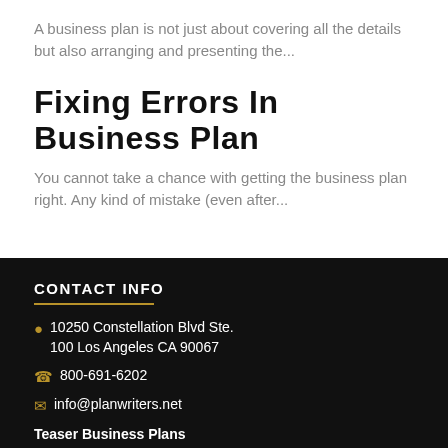A business plan is not just about covering all the details but also arranging and presenting the...
Fixing Errors In Business Plan
You cannot take a chance with getting the business plan right. Any kind of mistake (even after...
CONTACT INFO
10250 Constellation Blvd Ste. 100 Los Angeles CA 90067
800-691-6202
info@planwriters.net
Teaser Business Plans